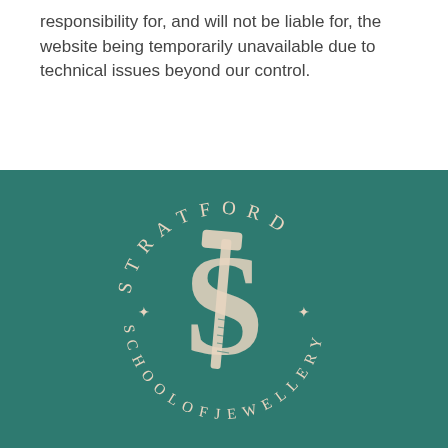responsibility for, and will not be liable for, the website being temporarily unavailable due to technical issues beyond our control.
[Figure (logo): Stratford School of Jewellery circular logo with an S and dollar-sign style monogram overlaid with a hammer tool, on a teal background. Text arcs read 'STRATFORD' on top and 'SCHOOL OF JEWELLERY' on the bottom with decorative diamond bullet points.]